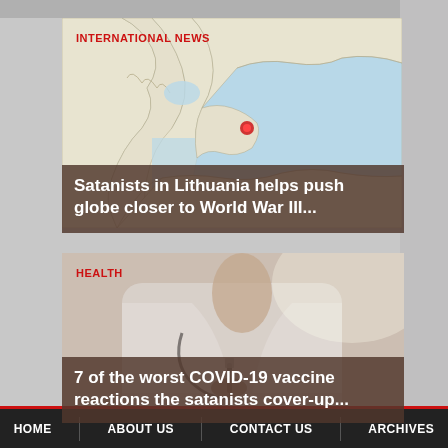[Figure (screenshot): News website screenshot with two article cards. Card 1: map of northern Europe with red marker on Lithuania, category label INTERNATIONAL NEWS, title overlay 'Satanists in Lithuania helps push globe closer to World War III...'. Card 2: blurred photo of doctor/medical professional in white coat holding a syringe, category label HEALTH, title overlay '7 of the worst COVID-19 vaccine reactions the satanists cover-up...']
HOME   ABOUT US   CONTACT US   ARCHIVES